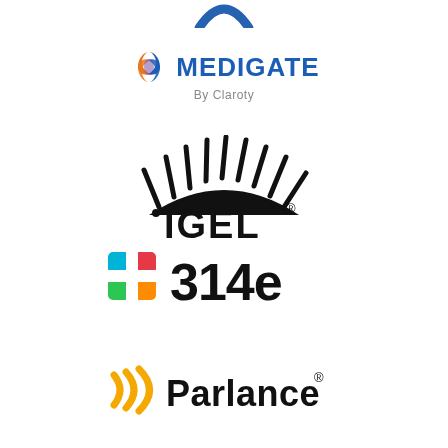[Figure (logo): Partial arc/icon at top of page (cropped logo, blue color)]
[Figure (logo): Medigate by Claroty logo — orange/blue cross-like icon followed by MEDIGATE in blue bold caps, 'By Claroty' in gray below]
[Figure (logo): IGEL logo — black hedgehog sun icon with spikes above 'IGEL' text in bold black with registered trademark symbol]
[Figure (logo): 314e logo — colorful cross/plus icon made of colored squares beside bold black '314e' text]
[Figure (logo): Parlance logo — yellow/gold concentric arcs/signal icon beside bold black 'Parlance' text with registered trademark symbol]